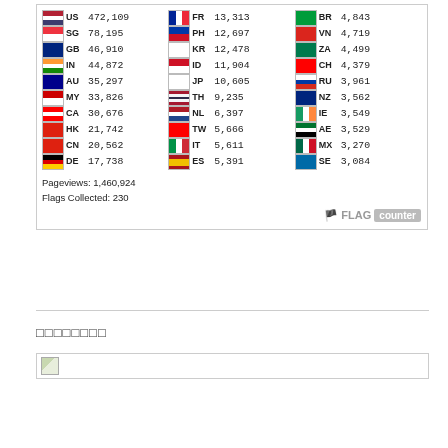[Figure (infographic): Flag counter widget showing pageview counts by country. Columns: US 472,109 | FR 13,313 | BR 4,843 | SG 78,195 | PH 12,697 | VN 4,719 | GB 46,910 | KR 12,478 | ZA 4,499 | IN 44,872 | ID 11,904 | CH 4,379 | AU 35,297 | JP 10,605 | RU 3,961 | MY 33,826 | TH 9,235 | NZ 3,562 | CA 30,676 | NL 6,397 | IE 3,549 | HK 21,742 | TW 5,666 | AE 3,529 | CN 20,562 | IT 5,611 | MX 3,270 | DE 17,738 | ES 5,391 | SE 3,084. Pageviews: 1,460,924. Flags Collected: 230.]
□□□□□□□□
[Figure (other): Small broken image placeholder in a bordered box]